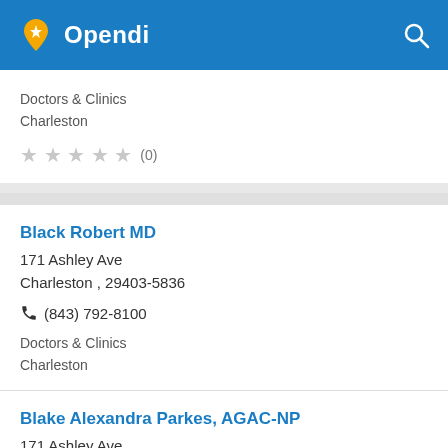Opendi
Doctors & Clinics
Charleston
★★★★★ (0)
Black Robert MD
171 Ashley Ave
Charleston , 29403-5836
☎ (843) 792-8100
Doctors & Clinics
Charleston
★★★★★ (0)
Blake Alexandra Parkes, AGAC-NP
171 Ashley Ave
Charleston , 29425